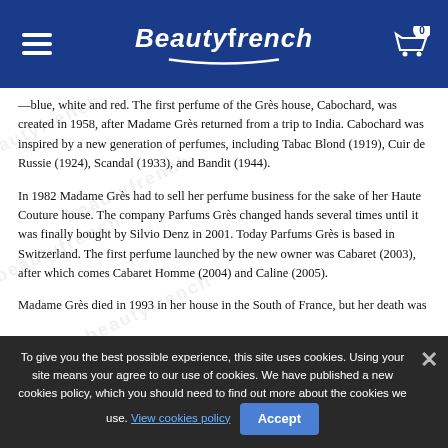Beautyfrench
—blue, white and red. The first perfume of the Grès house, Cabochard, was created in 1958, after Madame Grès returned from a trip to India. Cabochard was inspired by a new generation of perfumes, including Tabac Blond (1919), Cuir de Russie (1924), Scandal (1933), and Bandit (1944).
In 1982 Madame Grès had to sell her perfume business for the sake of her Haute Couture house. The company Parfums Grès changed hands several times until it was finally bought by Silvio Denz in 2001. Today Parfums Grès is based in Switzerland. The first perfume launched by the new owner was Cabaret (2003), after which comes Cabaret Homme (2004) and Caline (2005).
Madame Grès died in 1993 in her house in the South of France, but her death was not announced until a year later, on December 14, 1994 in Le Monde.
Designer Grès has 41 perfumes in our fragrance base. Grès is an old perfume house. The earliest edition was created in 1959 and the newest is ...
To give you the best possible experience, this site uses cookies. Using your site means your agree to our use of cookies. We have published a new cookies policy, which you should need to find out more about the cookies we use. View cookies policy  Accept